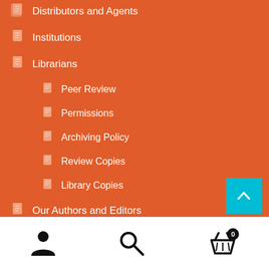Distributors and Agents
Institutions
Librarians
Peer Review
Permissions
Archiving Policy
Review Copies
Library Copies
Our Authors and Editors
Online Books
Submit a Book Proposal